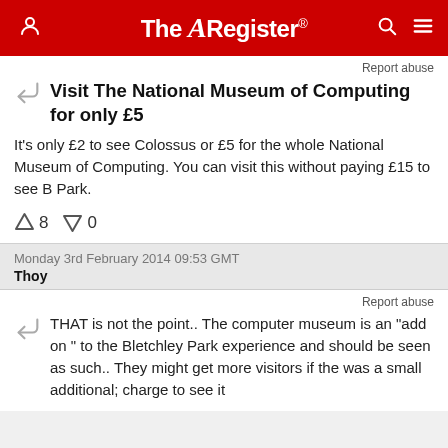The Register
Report abuse
Visit The National Museum of Computing for only £5
It's only £2 to see Colossus or £5 for the whole National Museum of Computing. You can visit this without paying £15 to see B Park.
↑8  ↓0
Monday 3rd February 2014 09:53 GMT
Thoy
Report abuse
THAT is not the point.. The computer museum is an "add on " to the Bletchley Park experience and should be seen as such.. They might get more visitors if the was a small additional; charge to see it